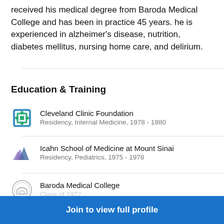received his medical degree from Baroda Medical College and has been in practice 45 years. he is experienced in alzheimer's disease, nutrition, diabetes mellitus, nursing home care, and delirium.
Education & Training
Cleveland Clinic Foundation
Residency, Internal Medicine, 1978 - 1980
Icahn School of Medicine at Mount Sinai
Residency, Pediatrics, 1975 - 1978
Baroda Medical College
Class of 1972
Join to view full profile